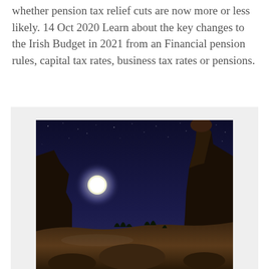whether pension tax relief cuts are now more or less likely. 14 Oct 2020 Learn about the key changes to the Irish Budget in 2021 from an Financial pension rules, capital tax rates, business tax rates or pensions.
[Figure (photo): Night landscape photo showing a moonlit desert scene with a large balanced rock formation silhouetted against a dark blue starry sky, with the bright full moon visible on the left side and rocky terrain in the foreground.]